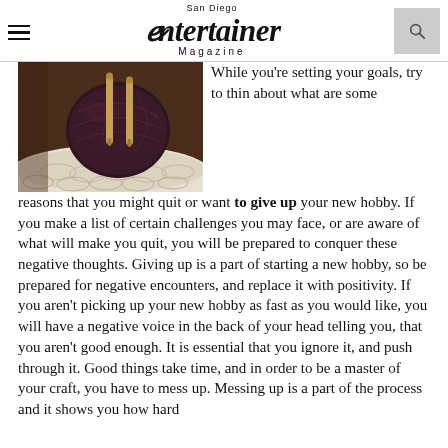San Diego Entertainer Magazine
[Figure (photo): Close-up photo of a dark maroon ball of yarn with two wooden crochet hooks inserted, resting on a white crocheted fabric.]
While you're setting your goals, try to thin about what are some reasons that you might quit or want to give up your new hobby. If you make a list of certain challenges you may face, or are aware of what will make you quit, you will be prepared to conquer these negative thoughts. Giving up is a part of starting a new hobby, so be prepared for negative encounters, and replace it with positivity. If you aren't picking up your new hobby as fast as you would like, you will have a negative voice in the back of your head telling you, that you aren't good enough. It is essential that you ignore it, and push through it. Good things take time, and in order to be a master of your craft, you have to mess up. Messing up is a part of the process and it shows you how hard